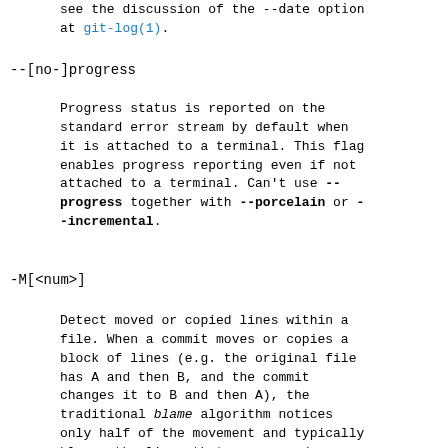see the discussion of the --date option at git-log(1).
--[no-]progress
Progress status is reported on the standard error stream by default when it is attached to a terminal. This flag enables progress reporting even if not attached to a terminal. Can't use --progress together with --porcelain or --incremental.
-M[<num>]
Detect moved or copied lines within a file. When a commit moves or copies a block of lines (e.g. the original file has A and then B, and the commit changes it to B and then A), the traditional blame algorithm notices only half of the movement and typically blames the lines that were moved up (i.e. B) to the parent and assigns